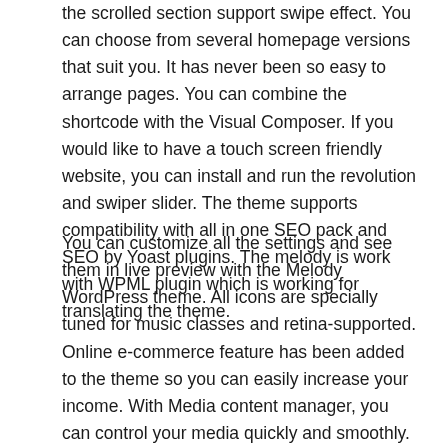the scrolled section support swipe effect. You can choose from several homepage versions that suit you. It has never been so easy to arrange pages. You can combine the shortcode with the Visual Composer. If you would like to have a touch screen friendly website, you can install and run the revolution and swiper slider. The theme supports compatibility with all in one SEO pack and SEO by Yoast plugins. The melody is work with WPML plugin which is working for translating the theme.
You can customize all the settings and see them in live preview with the Melody WordPress theme. All icons are specially tuned for music classes and retina-supported. Online e-commerce feature has been added to the theme so you can easily increase your income. With Media content manager, you can control your media quickly and smoothly. You can create two types of page layouts: boxed and wide. If you want to register for a class online, you will be able to use the booking feature. You can choose from three different media layouts, Grid, masonry, and cobbles, and add your own images. You will have exclusive widget sets like